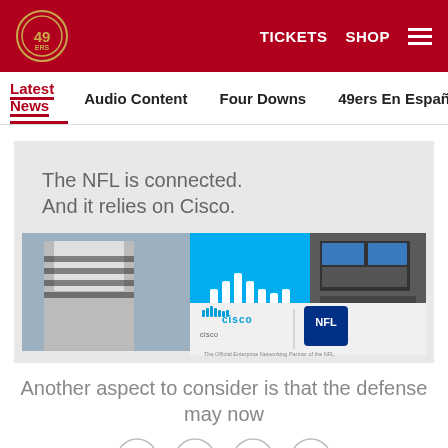San Francisco 49ers website header with logo, TICKETS, SHOP, and menu
Latest News  Audio Content  Four Downs  49ers En Español  Ga
[Figure (advertisement): Cisco NFL advertisement: 'The NFL is connected. And it relies on Cisco.' showing an NFL referee with headset, Cisco logo bars, stadium screens, with Cisco and NFL logos and text 'The Official Enterprise Networking Partner of the NFL']
Another aspect to consider is that the defense may now
[Figure (infographic): Social sharing icons: Facebook, Twitter, Email, and Link/chain icon in circular outlines]